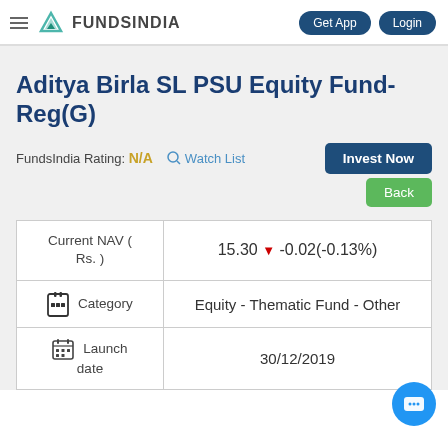FundsIndia — Get App | Login
Aditya Birla SL PSU Equity Fund-Reg(G)
FundsIndia Rating: N/A  Watch List  Invest Now  Back
|  |  |
| --- | --- |
| Current NAV ( Rs. ) | 15.30 ▼ -0.02(-0.13%) |
| Category | Equity - Thematic Fund - Other |
| Launch date | 30/12/2019 |